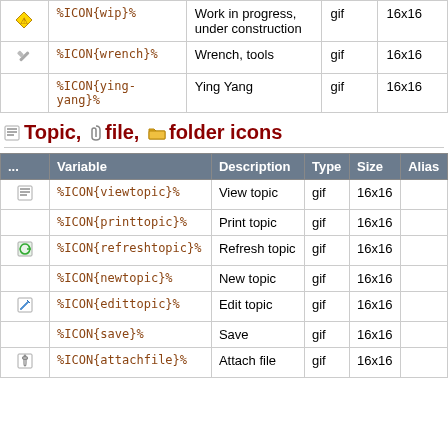|  | Variable | Description | Type | Size |
| --- | --- | --- | --- | --- |
| [wip] | %ICON{wip}% | Work in progress, under construction | gif | 16x16 |
| [wrench] | %ICON{wrench}% | Wrench, tools | gif | 16x16 |
|  | %ICON{ying-yang}% | Ying Yang | gif | 16x16 |
Topic, file, folder icons
|  | Variable | Description | Type | Size | Alias |
| --- | --- | --- | --- | --- | --- |
| [viewtopic] | %ICON{viewtopic}% | View topic | gif | 16x16 |  |
|  | %ICON{printtopic}% | Print topic | gif | 16x16 |  |
| [refresh] | %ICON{refreshtopic}% | Refresh topic | gif | 16x16 |  |
|  | %ICON{newtopic}% | New topic | gif | 16x16 |  |
| [edit] | %ICON{edittopic}% | Edit topic | gif | 16x16 |  |
|  | %ICON{save}% | Save | gif | 16x16 |  |
| [attach] | %ICON{attachfile}% | Attach file | gif | 16x16 |  |